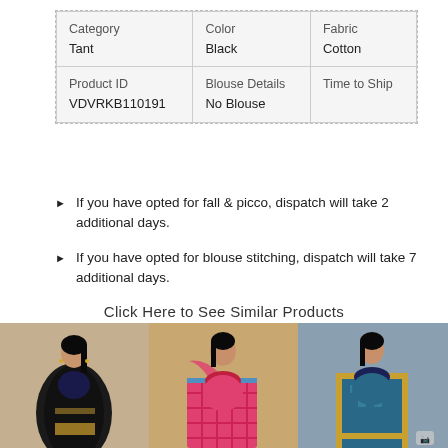| Category / Tant | Color / Black | Fabric / Cotton |
| --- | --- | --- |
| Category
Tant | Color
Black | Fabric
Cotton |
| Product ID
VDVRKB110191 | Blouse Details
No Blouse | Time to Ship
 |
If you have opted for fall & picco, dispatch will take 2 additional days.
If you have opted for blouse stitching, dispatch will take 7 additional days.
Click Here to See Similar Products
[Figure (photo): Three women modeling sarees: left - black and gold saree, center - pink/orange checked saree, right - teal/blue saree with gold border]
[Figure (photo): Woman in black and gold saree]
[Figure (photo): Woman in pink/orange checked saree]
[Figure (photo): Woman in teal blue saree with gold border]